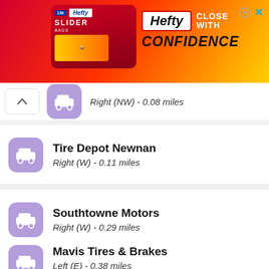[Figure (photo): Hefty Slider bag advertisement banner with red/orange/yellow gradient background, Hefty logo and 'Close With Confidence' text]
Right (NW) - 0.08 miles
Tire Depot Newnan
Right (W) - 0.11 miles
Southtowne Motors
Right (W) - 0.29 miles
Toyota of Newnan
Right (W) - 0.37 miles
Mavis Tires & Brakes
Left (E) - 0.38 miles